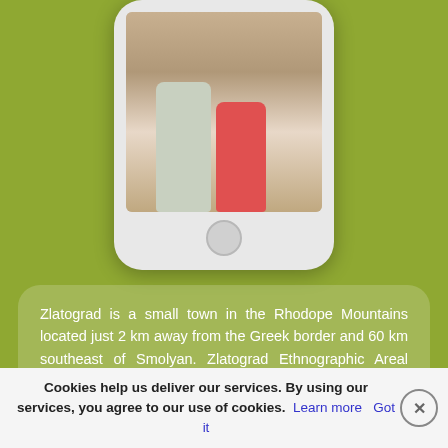[Figure (photo): Smartphone mockup showing a photo of people, partially visible at the top of the page, on a green/olive background]
Zlatograd is a small town in the Rhodope Mountains located just 2 km away from the Greek border and 60 km southeast of Smolyan. Zlatograd Ethnographic Areal Complex lies in the heart of the town. It is an open-air museum which is also part of the everyday life of local people. The complex comprises an ethnographic museum, workshops and an exhibition of water
Cookies help us deliver our services. By using our services, you agree to our use of cookies. Learn more Got it